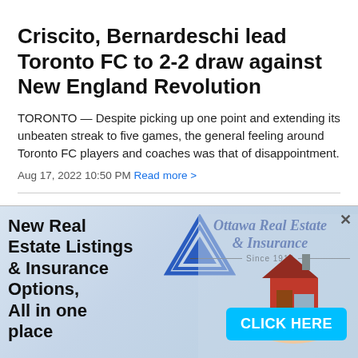Criscito, Bernardeschi lead Toronto FC to 2-2 draw against New England Revolution
TORONTO — Despite picking up one point and extending its unbeaten streak to five games, the general feeling around Toronto FC players and coaches was that of disappointment.
Aug 17, 2022 10:50 PM Read more >
[Figure (infographic): Advertisement banner for Ottawa Real Estate & Insurance featuring bold text 'New Real Estate Listings & Insurance Options, All in one place', a blue triangle logo, stylized italic brand name 'Ottawa Real Estate & Insurance Since 1910', a photo of a miniature house being held, and a cyan 'CLICK HERE' button.]